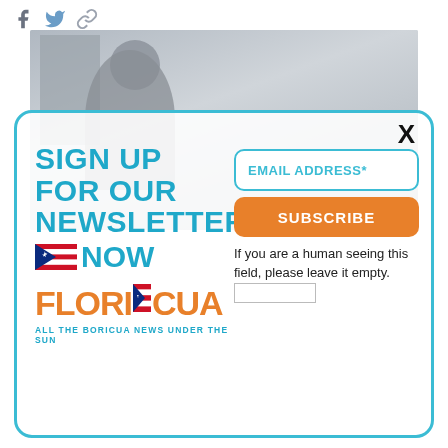[Figure (screenshot): Social media sharing icons: Facebook, Twitter, and a link/copy icon]
[Figure (photo): Background photo showing a person near an American flag, muted gray tones]
[Figure (infographic): Newsletter signup modal overlay with teal border. Contains headline 'SIGN UP FOR OUR NEWSLETTER NOW', Floricua logo with Puerto Rico flag, email address input, SUBSCRIBE button, and human verification text field.]
EMAIL ADDRESS*
SUBSCRIBE
If you are a human seeing this field, please leave it empty.